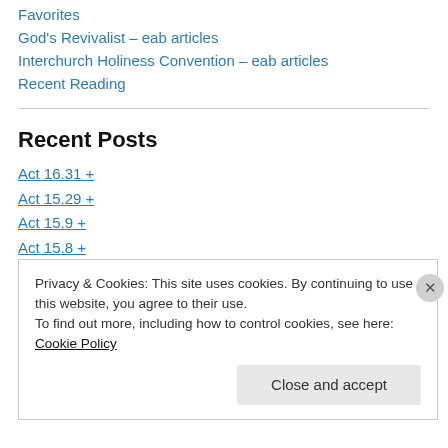Favorites
God's Revivalist – eab articles
Interchurch Holiness Convention – eab articles
Recent Reading
Recent Posts
Act 16.31 +
Act 15.29 +
Act 15.9 +
Act 15.8 +
ACT 14.17 +
Privacy & Cookies: This site uses cookies. By continuing to use this website, you agree to their use.
To find out more, including how to control cookies, see here: Cookie Policy
Close and accept